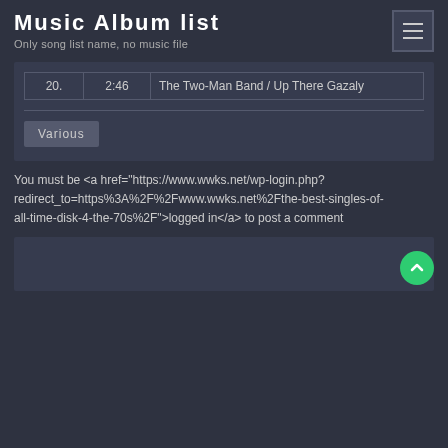Music Album list
Only song list name, no music file
|  |  |  |
| --- | --- | --- |
| 20. | 2:46 | The Two-Man Band / Up There Gazaly |
Various
You must be <a href="https://www.wwks.net/wp-login.php?redirect_to=https%3A%2F%2Fwww.wwks.net%2Fthe-best-singles-of-all-time-disk-4-the-70s%2F">logged in</a> to post a comment